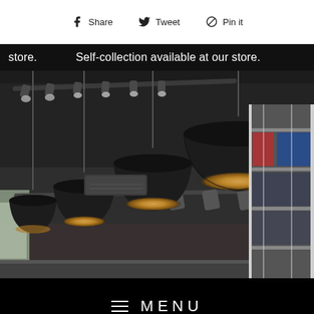f Share   Tweet   P Pin it
store.   Self-collection available at our store.
[Figure (photo): Interior of a retail store showing a dark ceiling with track lighting, multiple black pendant lamps with warm glowing interiors hanging at various heights, shelving units on the right side with merchandise, and a window view to the outside on the left.]
MENU